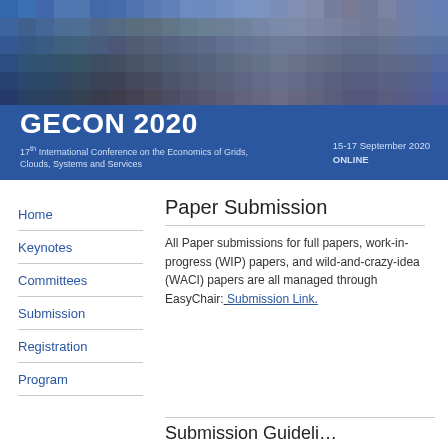[Figure (photo): GECON 2020 conference website banner with pixelated cityscape image and blue background, showing conference title, subtitle, date and location]
GECON 2020
17th International Conference on the Economics of Grids, Clouds, Systems and Services
15-17 September 2020
ONLINE
Home
Keynotes
Committees
Submission
Registration
Program
Paper Submission
All Paper submissions for full papers, work-in-progress (WIP) papers, and wild-and-crazy-idea (WACI) papers are all managed through EasyChair: Submission Link.
Submission Guideli…